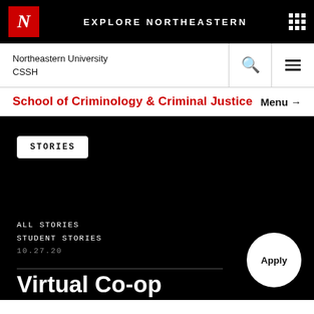EXPLORE NORTHEASTERN
Northeastern University CSSH
School of Criminology & Criminal Justice
STORIES
ALL STORIES
STUDENT STORIES
10.27.20
Virtual Co-op